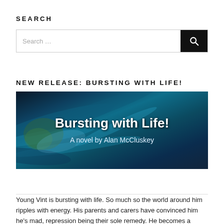SEARCH
Search …
NEW RELEASE: BURSTING WITH LIFE!
[Figure (illustration): Book cover for 'Bursting with Life! A novel by Alan McCluskey' — abstract blue fluid art background with white title text]
Young Vint is bursting with life. So much so the world around him ripples with energy. His parents and carers have convinced him he's mad, repression being their sole remedy. He becomes a willing prisoner of a grey world